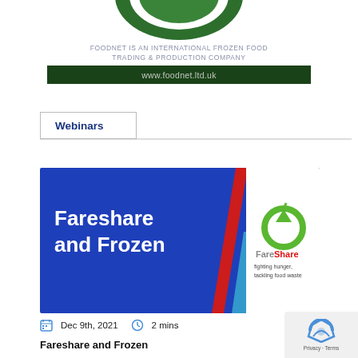[Figure (logo): FoodNet logo - circular green logo, partially cropped at top of page]
FOODNET IS AN INTERNATIONAL FROZEN FOOD TRADING & PRODUCTION COMPANY
www.foodnet.ltd.uk
Webinars
[Figure (illustration): Fareshare and Frozen webinar banner with blue background, red and light blue diagonal stripes, FareShare logo with green apple icon, tagline: fighting hunger, tackling food waste]
Dec 9th, 2021   2 mins
Fareshare and Frozen